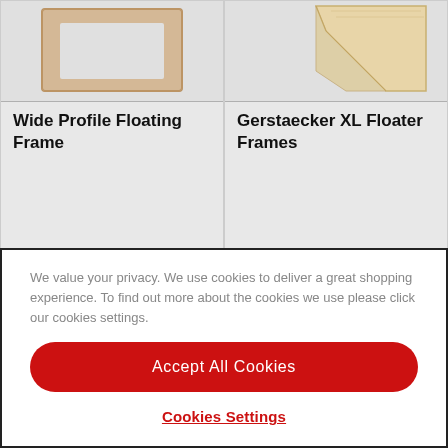[Figure (photo): Product image of Wide Profile Floating Frame - wooden square frame on light grey background]
Wide Profile Floating Frame
from £ 39.59
[Figure (photo): Product image of Gerstaecker XL Floater Frames - tan/natural wood frame corner on light grey background]
Gerstaecker XL Floater Frames
from £ 64.59
[Figure (photo): Partial product image showing black and white frame at bottom of page]
[Figure (photo): Partial product image, mostly blank/white]
We value your privacy. We use cookies to deliver a great shopping experience. To find out more about the cookies we use please click our cookies settings.
Accept All Cookies
Cookies Settings